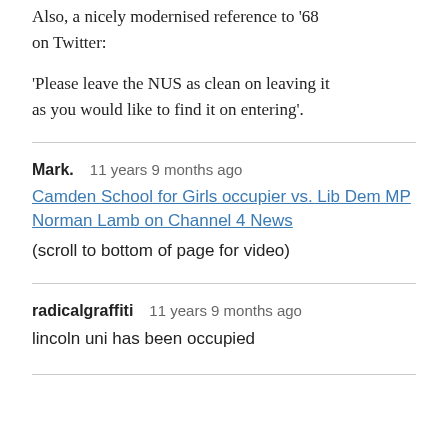Also, a nicely modernised reference to '68 on Twitter:
'Please leave the NUS as clean on leaving it as you would like to find it on entering'.
Mark.   11 years 9 months ago
Camden School for Girls occupier vs. Lib Dem MP Norman Lamb on Channel 4 News
(scroll to bottom of page for video)
radicalgraffiti   11 years 9 months ago
lincoln uni has been occupied